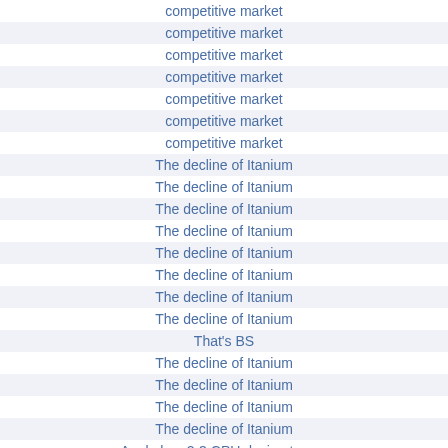competitive market
competitive market
competitive market
competitive market
competitive market
competitive market
competitive market
The decline of Itanium
The decline of Itanium
The decline of Itanium
The decline of Itanium
The decline of Itanium
The decline of Itanium
The decline of Itanium
The decline of Itanium
That's BS
The decline of Itanium
The decline of Itanium
The decline of Itanium
The decline of Itanium
Apple has 2-3 CPU design teams
The End of Moore's Law
Lower cost to process scaling can no longer be as